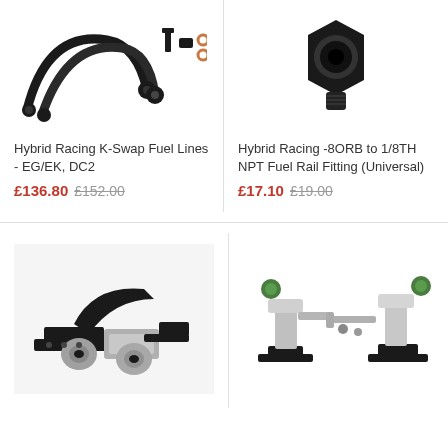[Figure (photo): Hybrid Racing K-Swap fuel lines kit for EG/EK, DC2 - black braided hoses with fittings, bolts, and copper washers on white background]
Hybrid Racing K-Swap Fuel Lines - EG/EK, DC2
£136.80 £152.00
[Figure (photo): Hybrid Racing -8ORB to 1/8TH NPT Fuel Rail Fitting (Universal) - black hexagonal fitting/adapter on white background]
Hybrid Racing -8ORB to 1/8TH NPT Fuel Rail Fitting (Universal)
£17.10 £19.00
[Figure (photo): Hybrid Racing engine mount kit with black and silver brackets and bushings on white background]
[Figure (photo): Hybrid Racing shift linkage or mount kit with black and silver components and green knobs on white background]